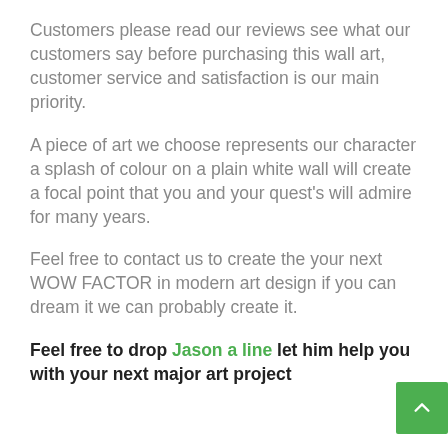Customers please read our reviews see what our customers say before purchasing this wall art, customer service and satisfaction is our main priority.
A piece of art we choose represents our character a splash of colour on a plain white wall will create a focal point that you and your quest's will admire for many years.
Feel free to contact us to create the your next WOW FACTOR in modern art design if you can dream it we can probably create it.
Feel free to drop Jason a line let him help you with your next major art project